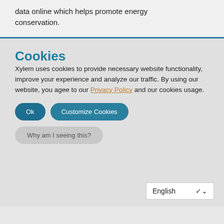data online which helps promote energy conservation.
Cookies
Xylem uses cookies to provide necessary website functionality, improve your experience and analyze our traffic. By using our website, you agee to our Privacy Policy and our cookies usage.
Ok
Customize Cookies
Why am I seeing this?
English